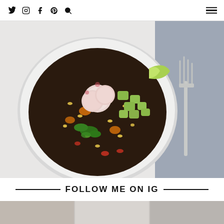Social media icons: Twitter, Instagram, Facebook, Pinterest, Search | Hamburger menu
[Figure (photo): Overhead view of a white bowl filled with black bean and corn salad, topped with sliced radishes, diced avocado, cilantro, and a lime wedge. A fork rests on a blue linen napkin to the right on a white background.]
FOLLOW ME ON IG
[Figure (photo): Bottom strip showing partial Instagram grid photos]